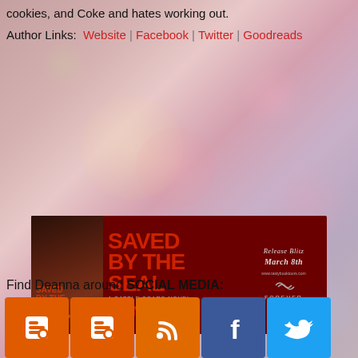cookies, and Coke and hates working out.
Author Links:  Website | Facebook | Twitter | Goodreads
[Figure (illustration): Book release banner for 'Saved by the Seal' by Diana Gardin, a Battle Scars Novel. Release Blitz March 8th. Published by Forever. Shows book cover on left side with red title text on dark background.]
Find Deanna around SOCIAL MEDIA:
[Figure (infographic): Five social media icons in a row: two orange Blogger icons, one orange RSS icon, one blue Facebook icon, one light blue Twitter icon.]